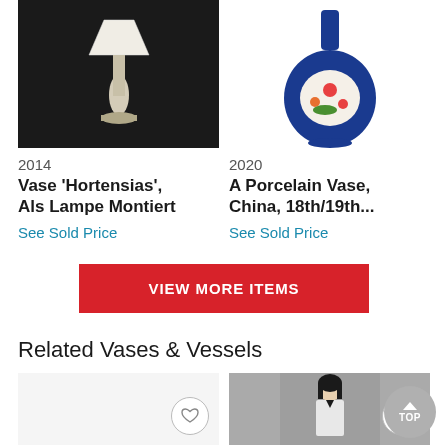[Figure (photo): A white lamp with shade on dark background, lot 2014]
2014
Vase 'Hortensias', Als Lampe Montiert
See Sold Price
[Figure (photo): A blue porcelain vase with floral decoration, China, lot 2020]
2020
A Porcelain Vase, China, 18th/19th...
See Sold Price
VIEW MORE ITEMS
Related Vases & Vessels
[Figure (photo): Auction item thumbnail with heart icon]
[Figure (photo): A figurine of a woman with black hair, with heart icon]